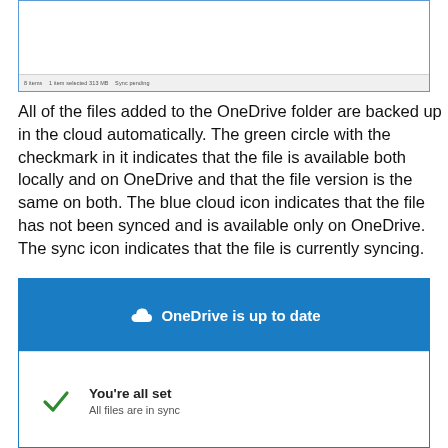[Figure (screenshot): Screenshot of a OneDrive folder window showing a file browser with status bar text: '8 items   1 item selected 313 MB   Sync pending']
All of the files added to the OneDrive folder are backed up in the cloud automatically. The green circle with the checkmark in it indicates that the file is available both locally and on OneDrive and that the file version is the same on both. The blue cloud icon indicates that the file has not been synced and is available only on OneDrive. The sync icon indicates that the file is currently syncing.
[Figure (screenshot): OneDrive status dialog showing a blue header bar with cloud icon and text 'OneDrive is up to date', and a white panel below with a green checkmark, bold text 'You're all set', and subtitle 'All files are in sync']